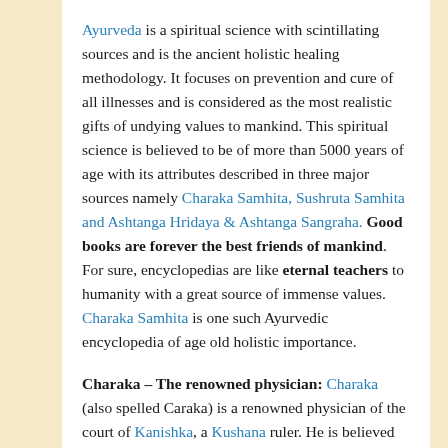Ayurveda is a spiritual science with scintillating sources and is the ancient holistic healing methodology. It focuses on prevention and cure of all illnesses and is considered as the most realistic gifts of undying values to mankind. This spiritual science is believed to be of more than 5000 years of age with its attributes described in three major sources namely Charaka Samhita, Sushruta Samhita and Ashtanga Hridaya & Ashtanga Sangraha. Good books are forever the best friends of mankind. For sure, encyclopedias are like eternal teachers to humanity with a great source of immense values. Charaka Samhita is one such Ayurvedic encyclopedia of age old holistic importance.
Charaka – The renowned physician: Charaka (also spelled Caraka) is a renowned physician of the court of Kanishka, a Kushana ruler. He is believed to have born in c. 300 BC. He himself was a living encyclopedia, who in addition to serving the human beings as a great medical preacher & practitioner also gave equal importance to